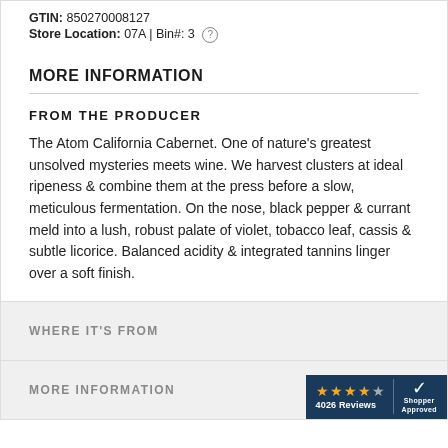GTIN: 850270008127
Store Location: 07A | Bin#: 3
MORE INFORMATION
FROM THE PRODUCER
The Atom California Cabernet. One of nature's greatest unsolved mysteries meets wine. We harvest clusters at ideal ripeness & combine them at the press before a slow, meticulous fermentation. On the nose, black pepper & currant meld into a lush, robust palate of violet, tobacco leaf, cassis & subtle licorice. Balanced acidity & integrated tannins linger over a soft finish.
WHERE IT'S FROM
MORE INFORMATION